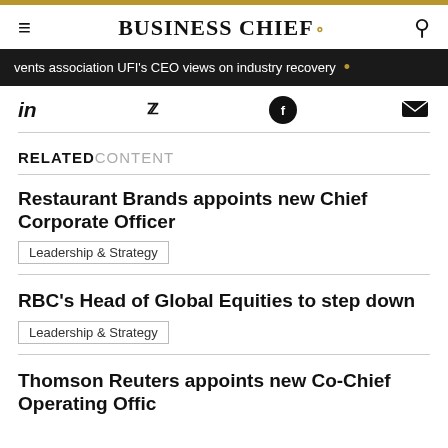BUSINESS CHIEF.
vents association UFI's CEO views on industry recovery
in  [twitter]  [facebook]  [email]
RELATED CONTENT
Restaurant Brands appoints new Chief Corporate Officer
Leadership & Strategy
RBC's Head of Global Equities to step down
Leadership & Strategy
Thomson Reuters appoints new Co-Chief Operating Officer